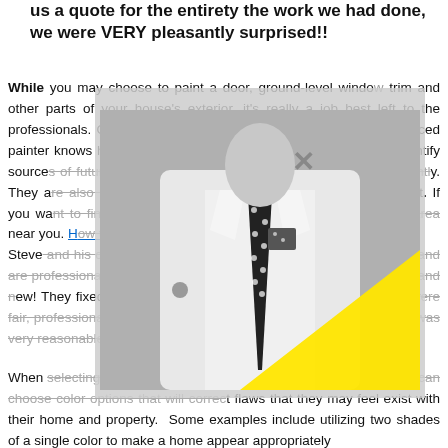us a quote for the entirety the work we had done, we were VERY pleasantly surprised!!
While you may choose to paint a door, ground-level window trim and other parts of your house's exterior, it's really a job best left to the professionals. One of the main reasons is experience. An experienced painter knows how to handle the prep work, spot problems and identify sources of future trouble, all while getting the job done more efficiently. They are also insured and bonded, which protects your investment. If you want to find a professional house painter in the Washington area near you. How to find a local house painter. Steve and his crew did a great job! They know what they are doing and are professionals! They did on our wood siding house and it looks brand new! They fixed our siding and everything looks brand new! They were fair, professional, and reasonably priced. I noticed that the estimate was very reasonable considering the work that was done.
[Figure (photo): Black and white photo of a man in a white suit with a black polka-dot tie and matching pocket square, with a yellow triangle overlay in the lower right portion of the image. An X close button appears in the upper area of the overlay.]
When selecting a color scheme for the home's exterior homeowners can choose color options that will correct flaws that they may feel exist with their home and property. Some examples include utilizing two shades of a single color to make a home appear appropriately